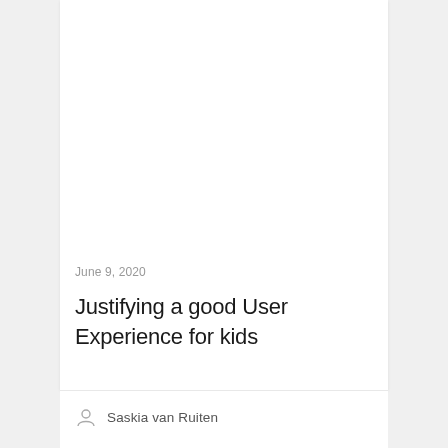June 9, 2020
Justifying a good User Experience for kids
Saskia van Ruiten